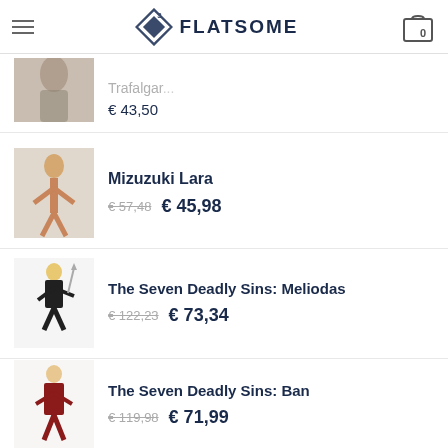Flatsome
Trafalgar... €43,50
Mizuzuki Lara - €57,48 €45,98
The Seven Deadly Sins: Meliodas - €122,23 €73,34
The Seven Deadly Sins: Ban - €119,98 €71,99
BEST SELLING
Death Note: Ryuk